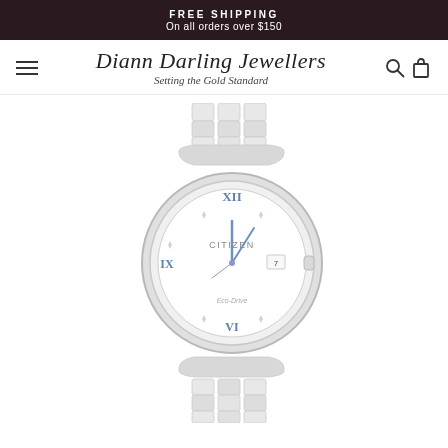FREE SHIPPING
On all orders over $150
[Figure (logo): Diann Darling Jewellers logo with tagline 'Setting the Gold Standard']
[Figure (photo): Citizen Eco-Drive ladies watch with white dial, Roman numerals, diamond accents, blue hands, date window, and stainless steel bracelet]